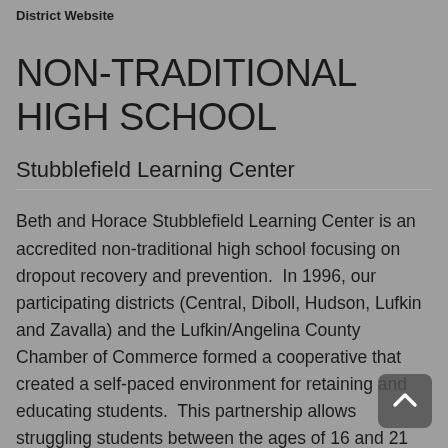District Website
NON-TRADITIONAL HIGH SCHOOL
Stubblefield Learning Center
Beth and Horace Stubblefield Learning Center is an accredited non-traditional high school focusing on dropout recovery and prevention.  In 1996, our participating districts (Central, Diboll, Hudson, Lufkin and Zavalla) and the Lufkin/Angelina County Chamber of Commerce formed a cooperative that created a self-paced environment for retaining and educating students.  This partnership allows struggling students between the ages of 16 and 21 who